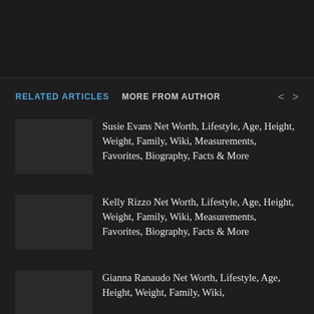RELATED ARTICLES   MORE FROM AUTHOR
Susie Evans Net Worth, Lifestyle, Age, Height, Weight, Family, Wiki, Measurements, Favorites, Biography, Facts & More
Kelly Rizzo Net Worth, Lifestyle, Age, Height, Weight, Family, Wiki, Measurements, Favorites, Biography, Facts & More
Gianna Ranaudo Net Worth, Lifestyle, Age, Height, Weight, Family, Wiki,